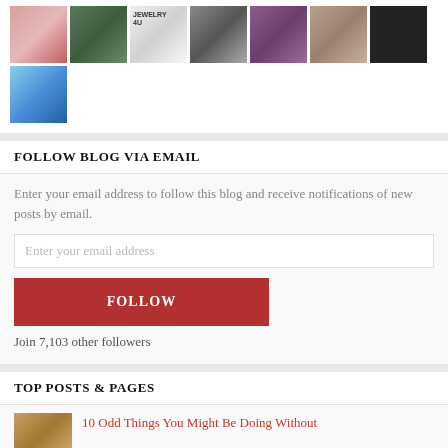[Figure (photo): Grid of 8 avatar/profile images: elderly woman, green door, jewelry 4U logo, Frankenstein-style portrait, Black woman, woman resting head on hand, high-contrast black-and-white portrait, aerial snowy landscape]
FOLLOW BLOG VIA EMAIL
Enter your email address to follow this blog and receive notifications of new posts by email.
Enter your email address
FOLLOW
Join 7,103 other followers
TOP POSTS & PAGES
10 Odd Things You Might Be Doing Without